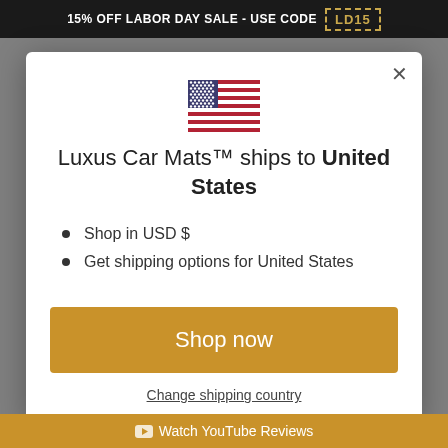15% OFF LABOR DAY SALE - USE CODE LD15
[Figure (illustration): US flag emoji/icon centered in modal]
Luxus Car Mats™ ships to United States
Shop in USD $
Get shipping options for United States
Shop now
Change shipping country
Watch YouTube Reviews